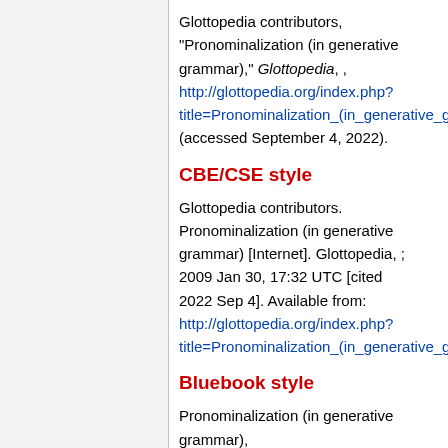Glottopedia contributors, "Pronominalization (in generative grammar)," Glottopedia, , http://glottopedia.org/index.php?title=Pronominalization_(in_generative_gra (accessed September 4, 2022).
CBE/CSE style
Glottopedia contributors. Pronominalization (in generative grammar) [Internet]. Glottopedia, ; 2009 Jan 30, 17:32 UTC [cited 2022 Sep 4]. Available from: http://glottopedia.org/index.php?title=Pronominalization_(in_generative_gra
Bluebook style
Pronominalization (in generative grammar),